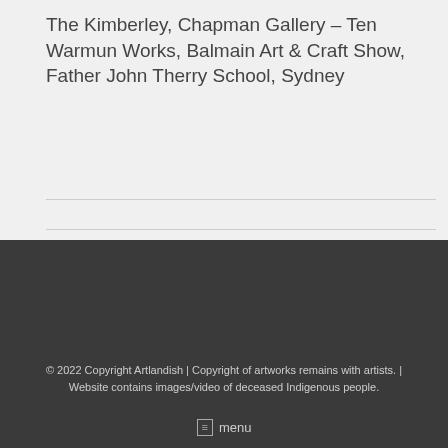The Kimberley, Chapman Gallery – Ten Warmun Works, Balmain Art & Craft Show, Father John Therry School, Sydney
© 2022 Copyright Artlandish | Copyright of artworks remains with artists. | Website contains images/video of deceased Indigenous people.
menu